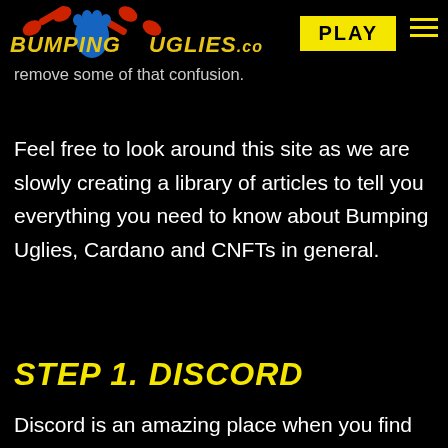[Figure (logo): Bumping Uglies website logo with cartoon character and text 'BUMPINGUGLIIES.co' in yellow italic bold, with a PLAY button in yellow and hamburger menu icon]
Thanks for checking out Bumping Uglies. I know for some the whole NFT space is confusing, we are here to remove some of that confusion.
Feel free to look around this site as we are slowly creating a library of articles to tell you everything you need to know about Bumping Uglies, Cardano and CNFTs in general.
STEP 1. DISCORD
Discord is an amazing place when you find the